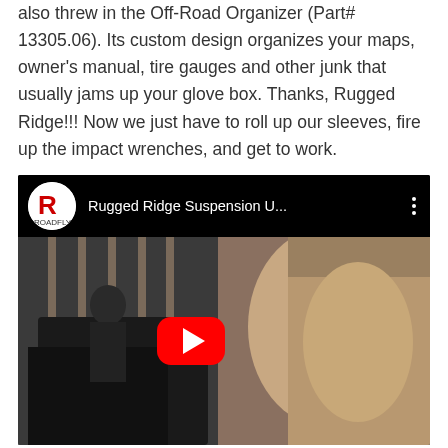also threw in the Off-Road Organizer (Part# 13305.06). Its custom design organizes your maps, owner's manual, tire gauges and other junk that usually jams up your glove box. Thanks, Rugged Ridge!!! Now we just have to roll up our sleeves, fire up the impact wrenches, and get to work.
[Figure (screenshot): Embedded YouTube video thumbnail showing a man outdoors near a Jeep with a YouTube play button overlay. Video title: 'Rugged Ridge Suspension U...' from Roadfly channel.]